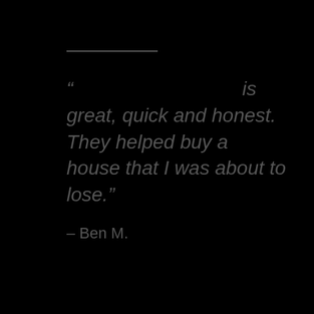“                                    is great, quick and honest. They helped buy a house that I was about to lose.”
– Ben M.